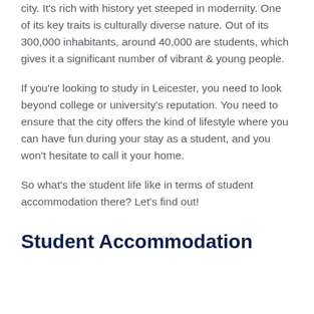city. It's rich with history yet steeped in modernity. One of its key traits is culturally diverse nature. Out of its 300,000 inhabitants, around 40,000 are students, which gives it a significant number of vibrant & young people.
If you're looking to study in Leicester, you need to look beyond college or university's reputation. You need to ensure that the city offers the kind of lifestyle where you can have fun during your stay as a student, and you won't hesitate to call it your home.
So what's the student life like in terms of student accommodation there? Let's find out!
Student Accommodation